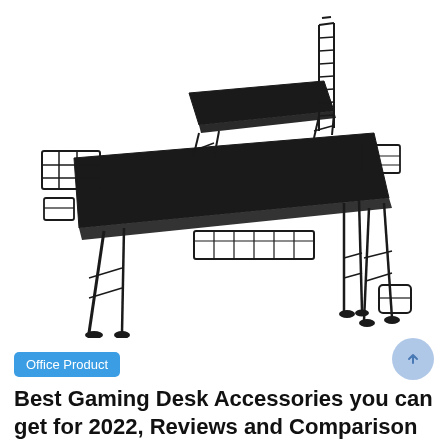[Figure (photo): A black gaming desk with wire-frame metal legs and multiple accessories including side shelves, a monitor riser shelf, cup holder, headphone holder, and storage baskets. The desk has a large black surface and minimalist angular wire leg design.]
Office Product
Best Gaming Desk Accessories you can get for 2022, Reviews and Comparison